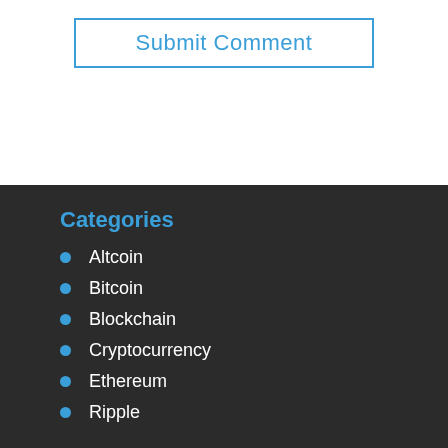[Figure (other): Submit Comment button with blue border and blue text on white background]
Categories
Altcoin
Bitcoin
Blockchain
Cryptocurrency
Ethereum
Ripple